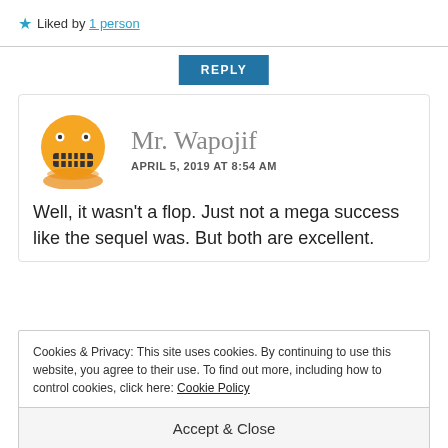★ Liked by 1 person
REPLY
[Figure (illustration): Yellow emoji-style avatar with grimacing face (teeth showing), on an orange circular base]
Mr. Wapojif
APRIL 5, 2019 AT 8:54 AM
Well, it wasn't a flop. Just not a mega success like the sequel was. But both are excellent.
Cookies & Privacy: This site uses cookies. By continuing to use this website, you agree to their use. To find out more, including how to control cookies, click here: Cookie Policy
Accept & Close